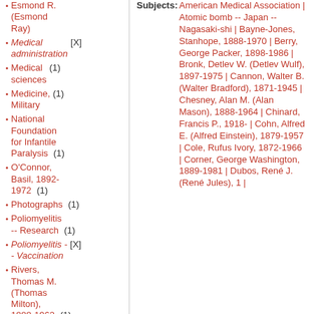Esmond R. (Esmond Ray)
Medical administration [X]
Medical sciences (1)
Medicine, Military (1)
National Foundation for Infantile Paralysis (1)
O'Connor, Basil, 1892-1972 (1)
Photographs (1)
Poliomyelitis -- Research (1)
Poliomyelitis -- Vaccination [X]
Rivers, Thomas M. (Thomas Milton), 1888-1962 (1)
Rockefeller Institute. Hospital [X]
Subjects: American Medical Association | Atomic bomb -- Japan -- Nagasaki-shi | Bayne-Jones, Stanhope, 1888-1970 | Berry, George Packer, 1898-1986 | Bronk, Detlev W. (Detlev Wulf), 1897-1975 | Cannon, Walter B. (Walter Bradford), 1871-1945 | Chesney, Alan M. (Alan Mason), 1888-1964 | Chinard, Francis P., 1918- | Cohn, Alfred E. (Alfred Einstein), 1879-1957 | Cole, Rufus Ivory, 1872-1966 | Corner, George Washington, 1889-1981 | Dubos, René J. (René Jules), 1 |